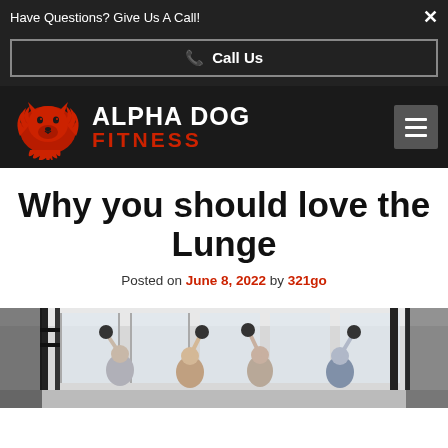Have Questions? Give Us A Call!
Call Us
[Figure (logo): Alpha Dog Fitness logo with red flaming wolf head and white bold text 'ALPHA DOG' and red text 'FITNESS']
Why you should love the Lunge
Posted on June 8, 2022 by 321go
[Figure (photo): People in a gym holding kettlebells overhead, standing in a bright fitness facility with large windows and black power racks]